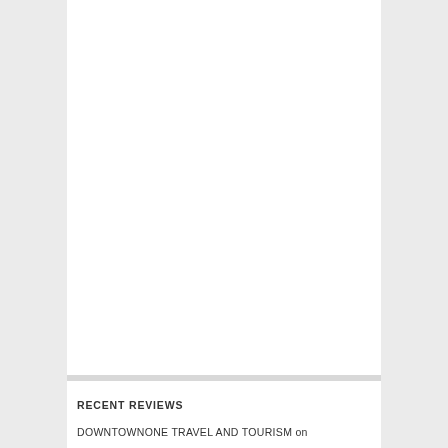RECENT REVIEWS
DOWNTOWNONE TRAVEL AND TOURISM on